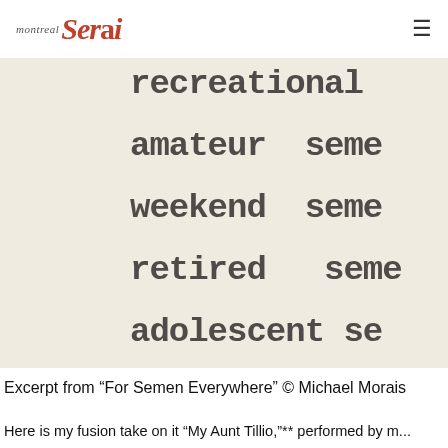montreal serai [hamburger menu]
[Figure (photo): Close-up of typewritten text on aged cream paper showing partial words: 'recreational', 'amateur seme', 'weekend seme', 'retired seme', 'adolescent se' — part of a poem or list. The right side of the words is cut off.]
Excerpt from “For Semen Everywhere” © Michael Morais
Here is my fusion take on it “My Aunt Tillio,”** performed by my...